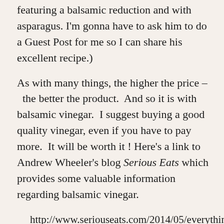featuring a balsamic reduction and with asparagus.  I'm gonna have to ask him to do a Guest Post for me so I can share his excellent recipe.)
As with many things, the higher the price –  the better the product.  And so it is with balsamic vinegar.  I suggest buying a good quality vinegar, even if you have to pay more.  It will be worth it ! Here's a link to Andrew Wheeler's blog Serious Eats which provides some valuable information regarding balsamic vinegar.
http://www.seriouseats.com/2014/05/everything-you-need-to-know-guide-to-balsamic-vinegar.html
I used skinless chicken thighs today because, to me, the meat much more flavorful than chicken breast.